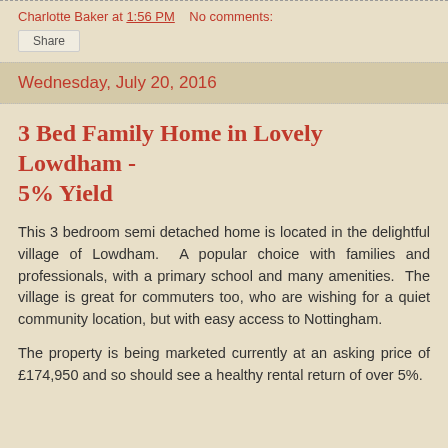Charlotte Baker at 1:56 PM   No comments:
Share
Wednesday, July 20, 2016
3 Bed Family Home in Lovely Lowdham - 5% Yield
This 3 bedroom semi detached home is located in the delightful village of Lowdham.  A popular choice with families and professionals, with a primary school and many amenities.  The village is great for commuters too, who are wishing for a quiet community location, but with easy access to Nottingham.
The property is being marketed currently at an asking price of £174,950 and so should see a healthy rental return of over 5%.